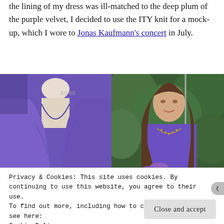the lining of my dress was ill-matched to the deep plum of the purple velvet, I decided to use the ITY knit for a mock-up, which I wore to Jonas Kaufmann's concert in July.
[Figure (photo): Close-up of a purple wrap-style dress on a mannequin, showing the crossover neckline and fabric draping]
[Figure (photo): A young woman with long brown hair wearing a purple long-sleeve dress with decorative neckline detail, standing in front of green foliage]
Privacy & Cookies: This site uses cookies. By continuing to use this website, you agree to their use.
To find out more, including how to control cookies, see here:
Cookie Policy
Close and accept